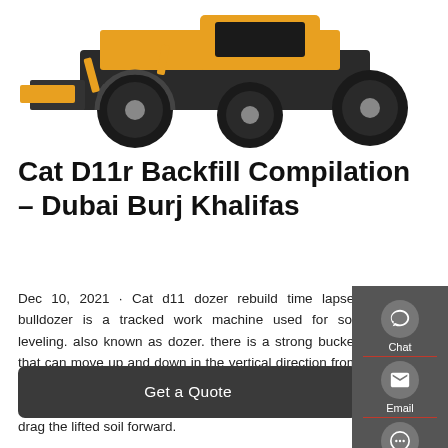[Figure (photo): Partial view of a large yellow Cat bulldozer/wheel loader from below, showing tires and undercarriage against white background]
Cat D11r Backfill Compilation – Dubai Burj Khalifas
Dec 10, 2021 · Cat d11 dozer rebuild time lapse. bulldozer is a tracked work machine used for soil leveling. also known as dozer. there is a strong bucket that can move up and down in the vertical direction from the front. the bulldozer breaks up and scrapes the soil with the cutting blade at the bottom of this bucket. it can drag the lifted soil forward.
[Figure (infographic): Dark grey sidebar with Chat (headset icon), Email (envelope icon), and Contact (speech bubble icon) buttons with red dividers between Email and Contact]
Get a Quote